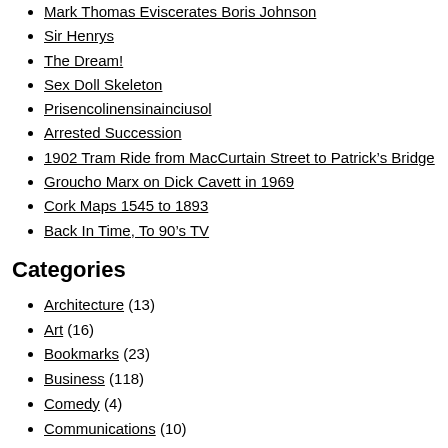Mark Thomas Eviscerates Boris Johnson
Sir Henrys
The Dream!
Sex Doll Skeleton
Prisencolinensinainciusol
Arrested Succession
1902 Tram Ride from MacCurtain Street to Patrick's Bridge
Groucho Marx on Dick Cavett in 1969
Cork Maps 1545 to 1893
Back In Time, To 90’s TV
Categories
Architecture (13)
Art (16)
Bookmarks (23)
Business (118)
Comedy (4)
Communications (10)